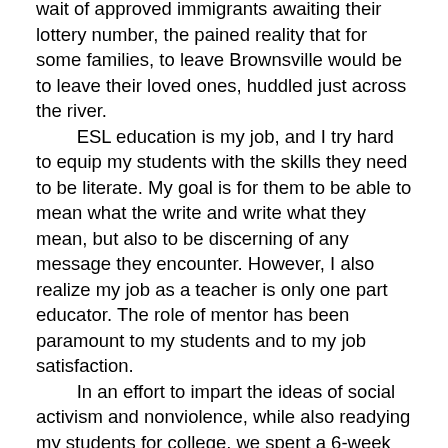wait of approved immigrants awaiting their lottery number, the pained reality that for some families, to leave Brownsville would be to leave their loved ones, huddled just across the river.
    ESL education is my job, and I try hard to equip my students with the skills they need to be literate. My goal is for them to be able to mean what the write and write what they mean, but also to be discerning of any message they encounter. However, I also realize my job as a teacher is only one part educator. The role of mentor has been paramount to my students and to my job satisfaction.
    In an effort to impart the ideas of social activism and nonviolence, while also readying my students for college, we spent a 6-week grading period reading inspiring documents by King, Chavez, Gandhi, Thoreau. Every 6-week marking period, students are required to internalize this spirit of volunteerism and community service. Because